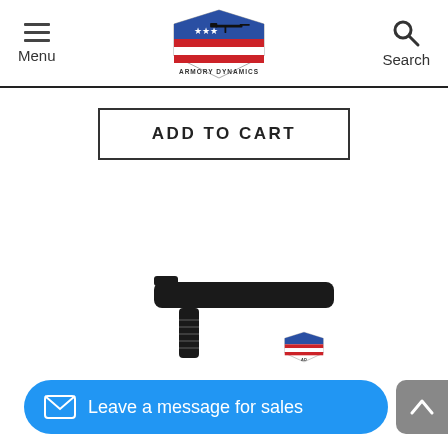Menu | Armory Dynamics | Search
ADD TO CART
[Figure (photo): A black AR-15 magazine release button / bolt catch part, shown at an angle, with a small Armory Dynamics logo watermark in the lower right corner.]
Leave a message for sales